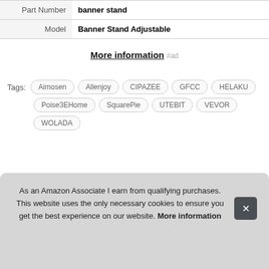| Part Number | banner stand |
| Model | Banner Stand Adjustable |
More information #ad
Tags: Aimosen Allenjoy CIPAZEE GFCC HELAKU Poise3EHome SquarePie UTEBIT VEVOR WOLADA
As an Amazon Associate I earn from qualifying purchases. This website uses the only necessary cookies to ensure you get the best experience on our website. More information